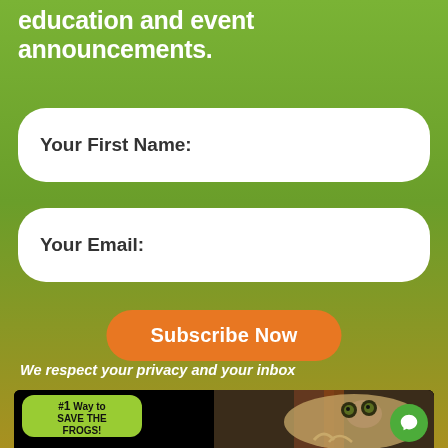Enter your email to receive amphibian education and event announcements.
Your First Name:
Your Email:
Subscribe Now
We respect your privacy and your inbox
[Figure (photo): Newsletter subscription promotional image showing a frog clinging to a branch, with text '#1 Way to SAVE THE FROGS!' in a green badge and 'Subscribe to the FREE...' in yellow italic text on a black background]